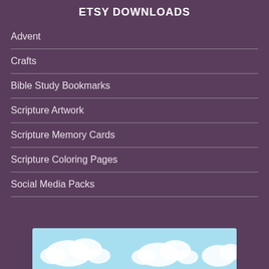ETSY DOWNLOADS
Advent
Crafts
Bible Study Bookmarks
Scripture Artwork
Scripture Memory Cards
Scripture Coloring Pages
Social Media Packs
[Figure (illustration): Bottom portion of a decorative image with light blue sky and white clouds]